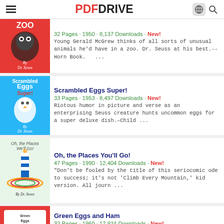PDF DRIVE
32 Pages · 1950 · 8,137 Downloads · New!
Young Gerald McGrew thinks of all sorts of unusual animals he'd have in a zoo. Dr. Seuss at his best.--Horn Book.   ...
Scrambled Eggs Super!
33 Pages · 1953 · 8,497 Downloads · New!
Riotous humor in picture and verse as an enterprising Seuss creature hunts uncommon eggs for a super deluxe dish.–Child ...
Oh, the Places You'll Go!
47 Pages · 1990 · 12,404 Downloads · New!
"Don't be fooled by the title of this seriocomic ode to success; it's not 'Climb Every Mountain,' kid version. All journ ...
Green Eggs and Ham
32 Pages · 1960 · 17,924 Downloads · New!
To celebrate the 50th anniversary of the original publication of Green Eggs and Ham, we're making available—for a li ...